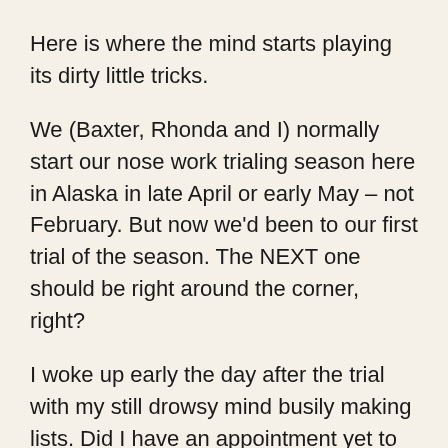Here is where the mind starts playing its dirty little tricks.
We (Baxter, Rhonda and I) normally start our nose work trialing season here in Alaska in late April or early May – not February. But now we'd been to our first trial of the season. The NEXT one should be right around the corner, right?
I woke up early the day after the trial with my still drowsy mind busily making lists. Did I have an appointment yet to have the RV de-winterized? Did I need an oil change, or had I done that in the fall? What should I pack in my “travel knitting” projects bag? Did I need to add hot cocoa or hot apple cider to my shopping list? Was my little “travel odor kit”